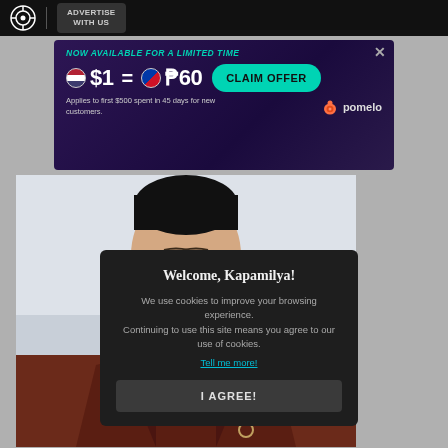ADVERTISE WITH US
[Figure (screenshot): Advertisement banner: NOW AVAILABLE FOR A LIMITED TIME. $1 = ₱60. Applies to first $500 spent in 45 days for new customers. CLAIM OFFER. pomelo]
[Figure (photo): Photo of a young East Asian man with dark hair, eyes closed, wearing a dark red/maroon jacket]
Welcome, Kapamilya!
We use cookies to improve your browsing experience. Continuing to use this site means you agree to our use of cookies.
Tell me more!
I AGREE!